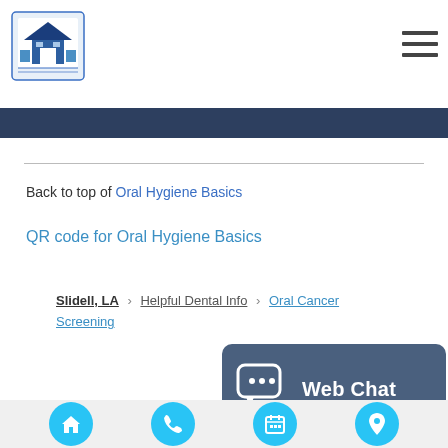[Figure (logo): Dental office logo with building/house icon in blue]
[Figure (illustration): Hamburger menu icon (three horizontal lines)]
[Figure (illustration): Dark navy blue banner strip]
Back to top of Oral Hygiene Basics
QR code for Oral Hygiene Basics
Slidell, LA > Helpful Dental Info > Oral Cancer Screening
[Figure (illustration): Close/X button circle icon]
[Figure (illustration): Web Chat popup button with chat bubble icon and label Web Chat]
Related Topics
[Figure (illustration): Accessibility wheelchair icon on black circle]
[Figure (illustration): Globe/language icon on black circle]
[Figure (illustration): Bottom navigation bar with home, phone, calendar, and location icons on cyan circles]